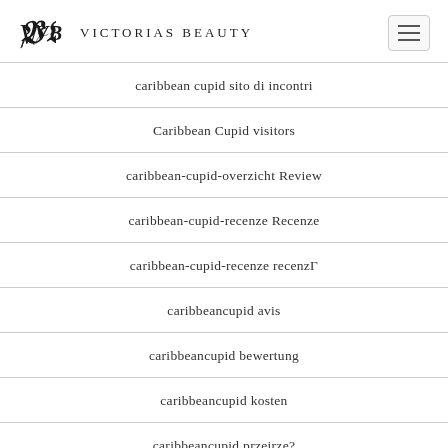Victorias Beauty
caribbean cupid sito di incontri
Caribbean Cupid visitors
caribbean-cupid-overzicht Review
caribbean-cupid-recenze Recenze
caribbean-cupid-recenze recenzГ
caribbeancupid avis
caribbeancupid bewertung
caribbeancupid kosten
caribbeancupid przeirze?